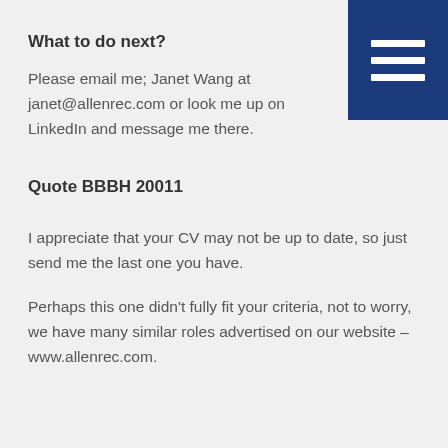What to do next?
Please email me; Janet Wang at janet@allenrec.com or look me up on LinkedIn and message me there.
Quote BBBH 20011
I appreciate that your CV may not be up to date, so just send me the last one you have.
Perhaps this one didn't fully fit your criteria, not to worry, we have many similar roles advertised on our website – www.allenrec.com.